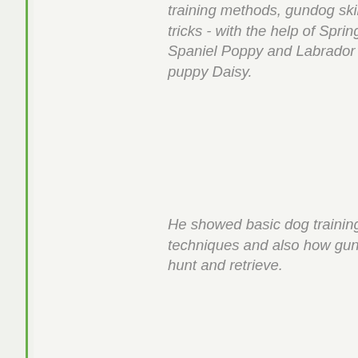training methods, gundog skills and tricks - with the help of Springer Spaniel Poppy and Labrador puppy Daisy.
He showed basic dog training techniques and also how gundogs hunt and retrieve.
The most popular part of the 30 minute show was a fun display of tricks by Poppy worthy of Britain's Got Talent's Pudsey. She balanced a sausage on her nose, danced, walked backwards